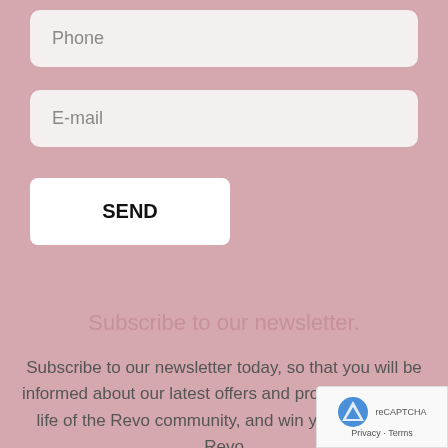Phone
E-mail
SEND
Subscribe to our newsletter.
Subscribe to our newsletter today, so that you will be informed about our latest offers and products, and the life of the Revo community, and win your favourite Revo